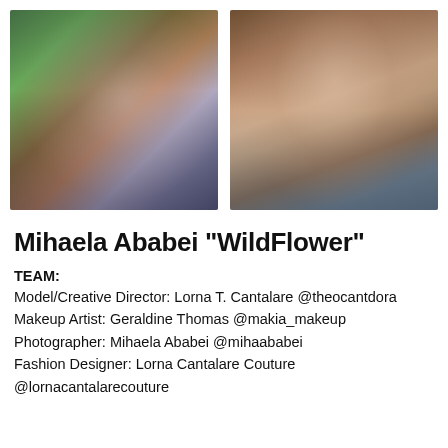[Figure (photo): Two side-by-side blurred portrait photos. Left photo shows a person with reddish-brown hair against a green and muted background. Right photo shows a person wearing sunglasses with reddish hair against a warm brown background.]
Mihaela Ababei "WildFlower"
TEAM:
Model/Creative Director: Lorna T. Cantalare @theocantdora
Makeup Artist: Geraldine Thomas @makia_makeup
Photographer: Mihaela Ababei @mihaababei
Fashion Designer: Lorna Cantalare Couture
@lornacantalarecouture